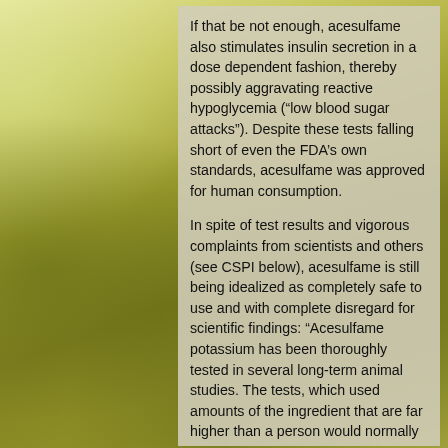[Figure (photo): Background photo of a green wheat/grain field with yellow-green tones, serving as decorative background behind a semi-transparent text overlay.]
If that be not enough, acesulfame also stimulates insulin secretion in a dose dependent fashion, thereby possibly aggravating reactive hypoglycemia (“low blood sugar attacks”). Despite these tests falling short of even the FDAs own standards, acesulfame was approved for human consumption.
In spite of test results and vigorous complaints from scientists and others (see CSPI below), acesulfame is still being idealized as completely safe to use and with complete disregard for scientific findings: Acesulfame potassium has been thoroughly tested in several long-term animal studies. The tests, which used amounts of the ingredient that are far higher than a person would normally consume, clearly found no evidence of cancer or tumors (IFIC). CSPI also noted that ever since Canada approved acesulfame for sweetening soft drinks, the artificial